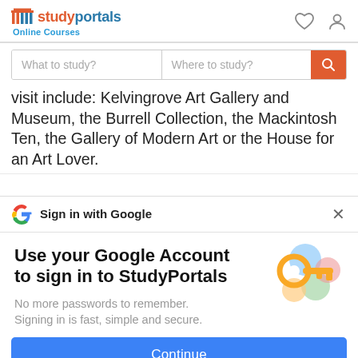studyportals Online Courses
What to study? | Where to study?
visit include: Kelvingrove Art Gallery and Museum, the Burrell Collection, the Mackintosh Ten, the Gallery of Modern Art or the House for an Art Lover.
Sign in with Google
Use your Google Account to sign in to StudyPortals
No more passwords to remember. Signing in is fast, simple and secure.
Continue